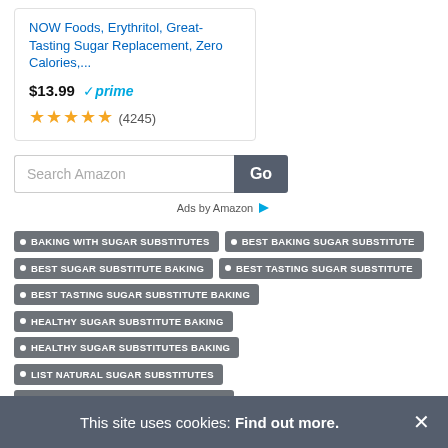NOW Foods, Erythritol, Great-Tasting Sugar Replacement, Zero Calories,...
$13.99 ✓prime
★★★★★ (4245)
[Figure (screenshot): Search Amazon input box with Go button]
Ads by Amazon
BAKING WITH SUGAR SUBSTITUTES
BEST BAKING SUGAR SUBSTITUTE
BEST SUGAR SUBSTITUTE BAKING
BEST TASTING SUGAR SUBSTITUTE
BEST TASTING SUGAR SUBSTITUTE BAKING
HEALTHY SUGAR SUBSTITUTE BAKING
HEALTHY SUGAR SUBSTITUTES BAKING
LIST NATURAL SUGAR SUBSTITUTES
NATURAL SUGAR SUBSTITUTE BAKING
NATURAL SUGAR SUBSTITUTES BAKING
This site uses cookies: Find out more.